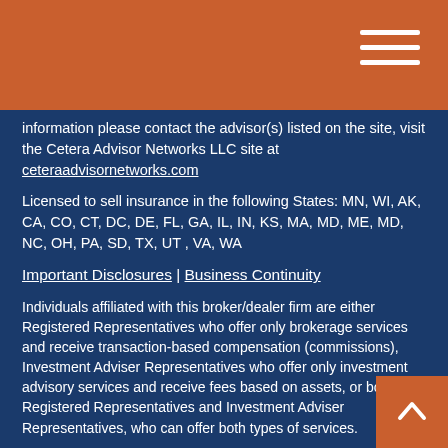information please contact the advisor(s) listed on the site, visit the Cetera Advisor Networks LLC site at ceteraadvisornetworks.com
Licensed to sell insurance in the following States: MN, WI, AK, CA, CO, CT, DC, DE, FL, GA, IL, IN, KS, MA, MD, ME, MD, NC, OH, PA, SD, TX, UT , VA, WA
Important Disclosures | Business Continuity
Individuals affiliated with this broker/dealer firm are either Registered Representatives who offer only brokerage services and receive transaction-based compensation (commissions), Investment Adviser Representatives who offer only investment advisory services and receive fees based on assets, or both Registered Representatives and Investment Adviser Representatives, who can offer both types of services.